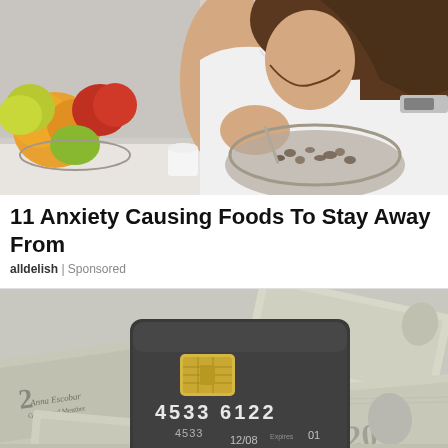[Figure (photo): Woman eating from a bowl of cereal/granola, with a fruit bowl containing apples, oranges, and limes visible to her left, sitting at a kitchen counter in a white top.]
11 Anxiety Causing Foods To Stay Away From
alldelish | Sponsored
[Figure (photo): Close-up photo of a dark credit card with chip, showing number 4533 6122, expiry 12/08, name on card partially visible as 'Ann Escobar', placed on top of scattered US dollar bills.]